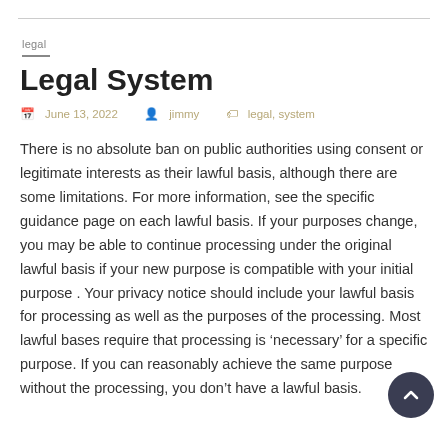legal
Legal System
June 13, 2022   jimmy   legal, system
There is no absolute ban on public authorities using consent or legitimate interests as their lawful basis, although there are some limitations. For more information, see the specific guidance page on each lawful basis. If your purposes change, you may be able to continue processing under the original lawful basis if your new purpose is compatible with your initial purpose . Your privacy notice should include your lawful basis for processing as well as the purposes of the processing. Most lawful bases require that processing is ‘necessary’ for a specific purpose. If you can reasonably achieve the same purpose without the processing, you don’t have a lawful basis.